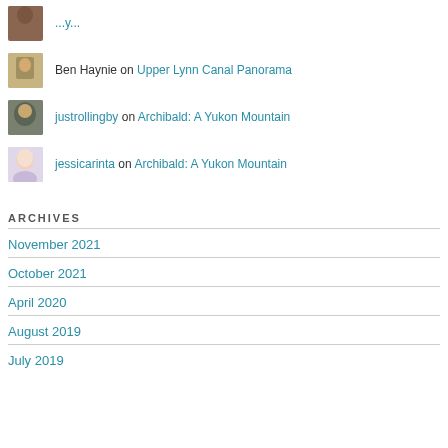Ben Haynie on Upper Lynn Canal Panorama
justrollingby on Archibald: A Yukon Mountain
jessicarinta on Archibald: A Yukon Mountain
ARCHIVES
November 2021
October 2021
April 2020
August 2019
July 2019